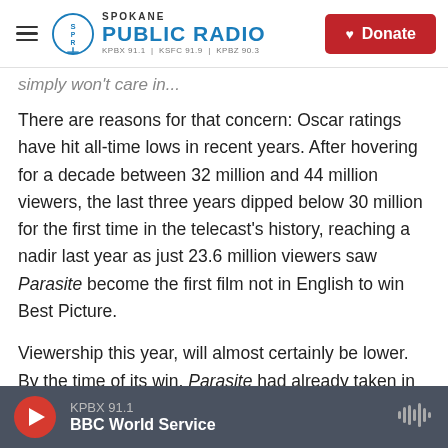Spokane Public Radio — KPBX 91.1 | KSFC 91.9 | KPBZ 90.3 | Donate
simply won't care in...
There are reasons for that concern: Oscar ratings have hit all-time lows in recent years. After hovering for a decade between 32 million and 44 million viewers, the last three years dipped below 30 million for the first time in the telecast's history, reaching a nadir last year as just 23.6 million viewers saw Parasite become the first film not in English to win Best Picture.
Viewership this year, will almost certainly be lower. By the time of its win, Parasite had already taken in $37 million in just the U.S. — more than the
KPBX 91.1 | BBC World Service